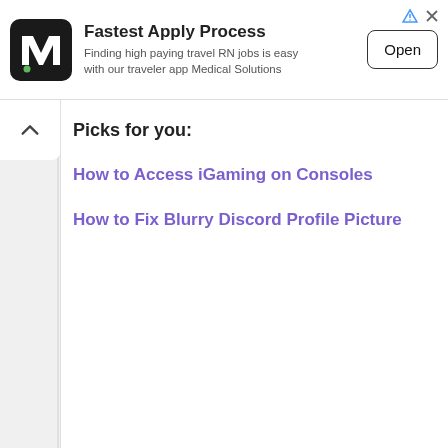[Figure (screenshot): Advertisement banner for Medical Solutions with M logo, 'Fastest Apply Process' title, subtitle text, and Open button]
Picks for you:
How to Access iGaming on Consoles
How to Fix Blurry Discord Profile Picture